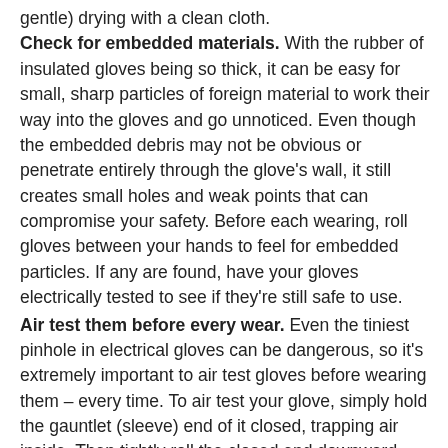gentle) drying with a clean cloth. Check for embedded materials. With the rubber of insulated gloves being so thick, it can be easy for small, sharp particles of foreign material to work their way into the gloves and go unnoticed. Even though the embedded debris may not be obvious or penetrate entirely through the glove's wall, it still creates small holes and weak points that can compromise your safety. Before each wearing, roll gloves between your hands to feel for embedded particles. If any are found, have your gloves electrically tested to see if they're still safe to use.
Air test them before every wear. Even the tiniest pinhole in electrical gloves can be dangerous, so it's extremely important to air test gloves before wearing them – every time. To air test your glove, simply hold the gauntlet (sleeve) end of it closed, trapping air inside. Then tightly roll the closed end downward, toward the fingers. If no air leaks out, the glove is free from holes.
Have gloves electrically tested twice a year. PPE gloves need to be electrically tested at least every six months to ensure that they're still able to protect against high voltage.